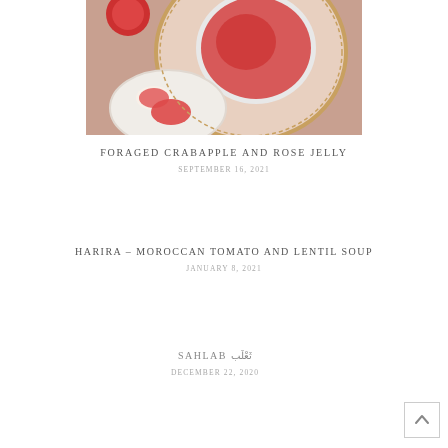[Figure (photo): Overhead view of a bowl of red jelly/jam on a decorative gold-rimmed plate, with a small spoon and saucer also containing jelly, on a warm-toned background.]
FORAGED CRABAPPLE AND ROSE JELLY
SEPTEMBER 16, 2021
HARIRA – MOROCCAN TOMATO AND LENTIL SOUP
JANUARY 8, 2021
SAHLAB ثَعْلَب
DECEMBER 22, 2020